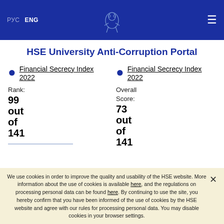РУС ENG | HSE Logo | Menu
HSE University Anti-Corruption Portal
Financial Secrecy Index 2022
Rank: 99 out of 141
Financial Secrecy Index 2022
Overall Score: 73 out of 141
We use cookies in order to improve the quality and usability of the HSE website. More information about the use of cookies is available here, and the regulations on processing personal data can be found here. By continuing to use the site, you hereby confirm that you have been informed of the use of cookies by the HSE website and agree with our rules for processing personal data. You may disable cookies in your browser settings.